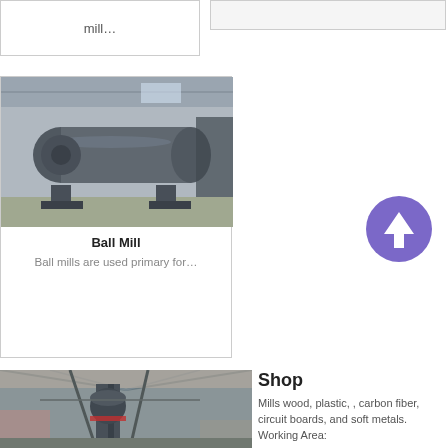mill…
[Figure (photo): Empty card / placeholder image on right side top]
[Figure (photo): Ball mill industrial machine photograph showing large cylindrical grinding mill in factory warehouse]
Ball Mill
Ball mills are used primary for…
[Figure (other): Purple circular button with upward arrow icon]
[Figure (photo): Industrial facility interior showing vertical equipment, structural steel and shed roof]
Shop
Mills wood, plastic, , carbon fiber, circuit boards, and soft metals. Working Area: